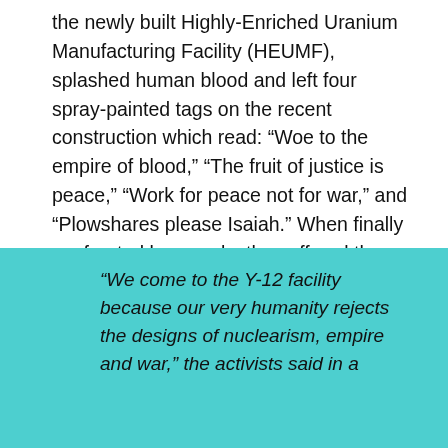the newly built Highly-Enriched Uranium Manufacturing Facility (HEUMF), splashed human blood and left four spray-painted tags on the recent construction which read: “Woe to the empire of blood,” “The fruit of justice is peace,” “Work for peace not for war,” and “Plowshares please Isaiah.” When finally confronted by guards, they offered the guards bread and roses.  They sang while forced to kneel for a long period of time.
“We come to the Y-12 facility because our very humanity rejects the designs of nuclearism, empire and war,” the activists said in a